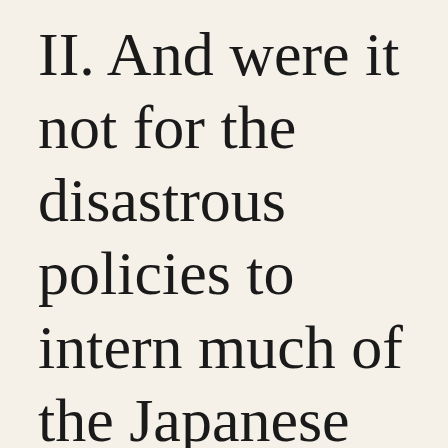II. And were it not for the disastrous policies to intern much of the Japanese